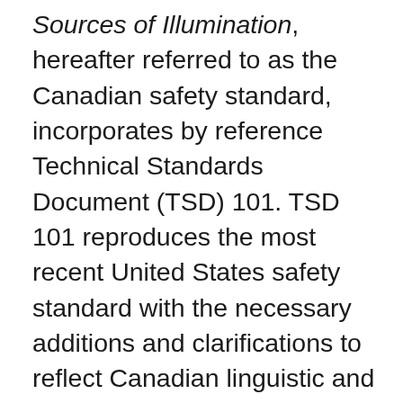Sources of Illumination, hereafter referred to as the Canadian safety standard, incorporates by reference Technical Standards Document (TSD) 101. TSD 101 reproduces the most recent United States safety standard with the necessary additions and clarifications to reflect Canadian linguistic and legislative needs. The new Canadian safety standard utilizes the incorporated TSD 101, while specifically requiring internationally adopted symbols to identify the controls, tell-tales and indicators. This approach is aimed at limiting the use of words and